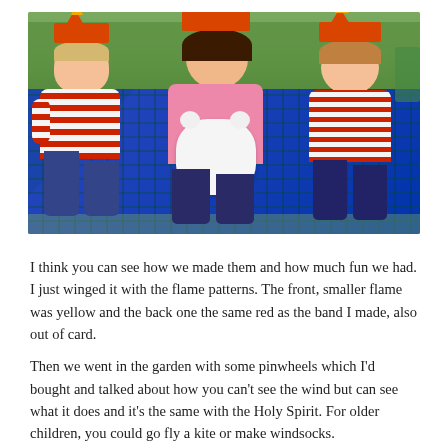[Figure (photo): Three young children sitting on a tartan/plaid blanket outdoors in a garden. All three are wearing orange paper flame crowns on their heads. The child on the left wears a red striped top, the child in the center wears a pink top and holds a white stuffed bear, and the child on the right wears a red and white striped top. Green foliage is visible in the background.]
I think you can see how we made them and how much fun we had. I just winged it with the flame patterns. The front, smaller flame was yellow and the back one the same red as the band I made, also out of card.
Then we went in the garden with some pinwheels which I'd bought and talked about how you can't see the wind but can see what it does and it's the same with the Holy Spirit. For older children, you could go fly a kite or make windsocks.
Finally, for snack, we had Pentecost muffins. They were very, very